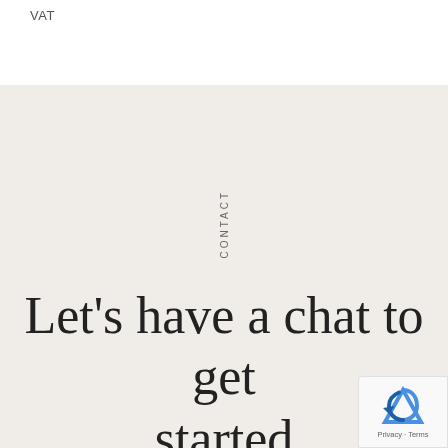VAT
CONTACT
Let's have a chat to get started
01202 483883
sales@presentationmedia.co.uk